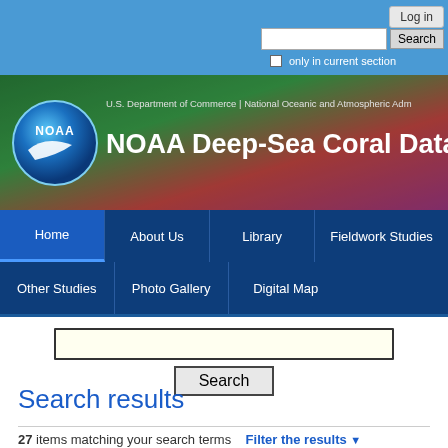[Figure (screenshot): NOAA website header with blue ocean/coral background, NOAA logo circle on left, title 'NOAA Deep-Sea Coral Data', agency text 'U.S. Department of Commerce | National Oceanic and Atmospheric Administration']
Log in
Search
only in current section
U.S. Department of Commerce | National Oceanic and Atmospheric Adm
NOAA Deep-Sea Coral Data
Home
About Us
Library
Fieldwork Studies
Other Studies
Photo Gallery
Digital Map
Search
Search results
27 items matching your search terms    Filter the results ▼